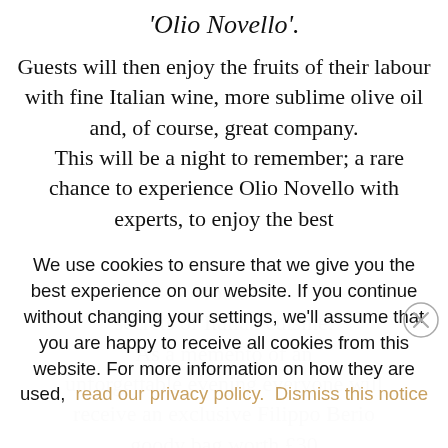‘Olio Novello’.
Guests will then enjoy the fruits of their labour with fine Italian wine, more sublime olive oil and, of course, great company.
This will be a night to remember; a rare chance to experience Olio Novello with experts, to enjoy the best
We use cookies to ensure that we give you the best experience on our website. If you continue without changing your settings, we'll assume that you are happy to receive all cookies from this website. For more information on how they are used,  read our privacy policy.   Dismiss this notice